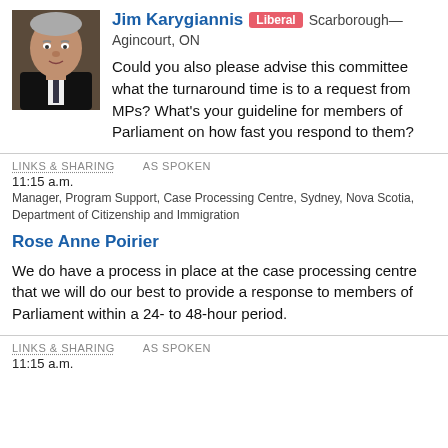[Figure (photo): Headshot photo of Jim Karygiannis, a middle-aged man in a suit]
Jim Karygiannis Liberal Scarborough—Agincourt, ON
Could you also please advise this committee what the turnaround time is to a request from MPs? What's your guideline for members of Parliament on how fast you respond to them?
LINKS & SHARING   AS SPOKEN
11:15 a.m.
Manager, Program Support, Case Processing Centre, Sydney, Nova Scotia, Department of Citizenship and Immigration
Rose Anne Poirier
We do have a process in place at the case processing centre that we will do our best to provide a response to members of Parliament within a 24- to 48-hour period.
LINKS & SHARING   AS SPOKEN
11:15 a.m.